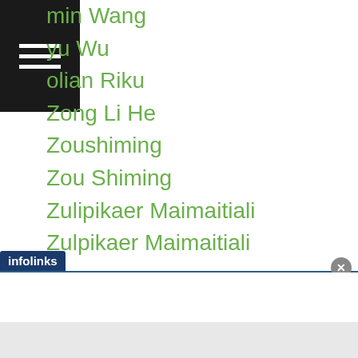min Wang
yu Wu
olian Riku
Zong Li He
Zoushiming
Zou Shiming
Zulipikaer Maimaitiali
Zulpikaer Maimaitiali
Archives
July 2022
June 2022
May 2022
April 2022
March 2022
y 2022